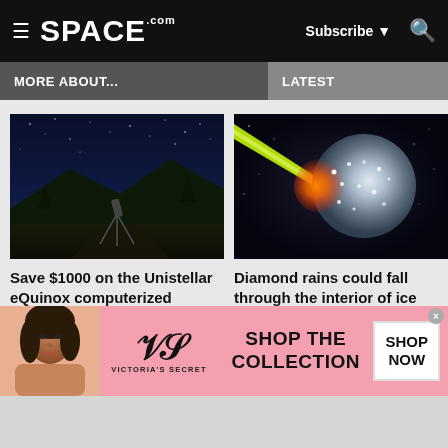SPACE.com — Subscribe, Search
MORE ABOUT...
LATEST
[Figure (photo): A telescope on a tripod silhouetted against a dark blue night sky with mountains in background]
Save $1000 on the Unistellar eQuinox computerized telescope ▶
[Figure (illustration): A laser beam striking a glowing spherical object (neutron star or ice giant) in space]
Diamond rains could fall through the interior of ice giant planets ▶
[Figure (other): Victoria's Secret advertisement — SHOP THE COLLECTION, SHOP NOW]